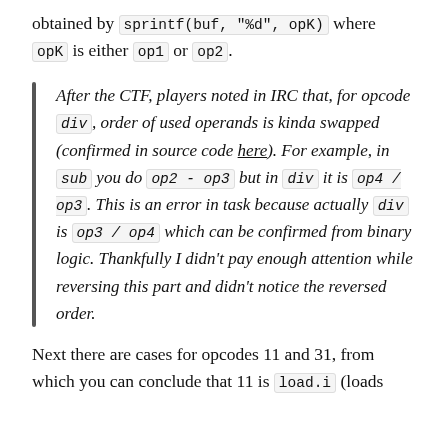obtained by sprintf(buf, "%d", opK) where opK is either op1 or op2.
After the CTF, players noted in IRC that, for opcode div, order of used operands is kinda swapped (confirmed in source code here). For example, in sub you do op2 - op3 but in div it is op4 / op3. This is an error in task because actually div is op3 / op4 which can be confirmed from binary logic. Thankfully I didn't pay enough attention while reversing this part and didn't notice the reversed order.
Next there are cases for opcodes 11 and 31, from which you can conclude that 11 is load.i (loads